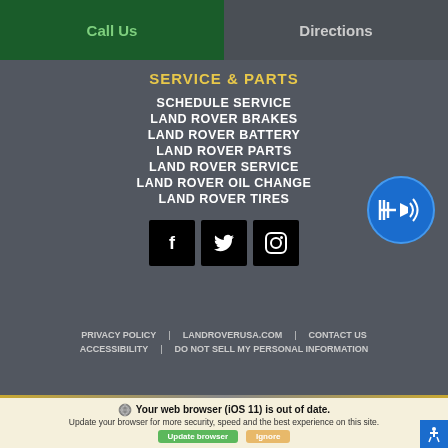Call Us | Directions
SERVICE & PARTS
SCHEDULE SERVICE
LAND ROVER BRAKES
LAND ROVER BATTERY
LAND ROVER PARTS
LAND ROVER SERVICE
LAND ROVER OIL CHANGE
LAND ROVER TIRES
[Figure (illustration): Social media icons: Facebook, Twitter, Instagram]
[Figure (illustration): Accessibility audio button - blue circular icon with speaker symbol]
PRIVACY POLICY | LANDROVERUSA.COM | CONTACT US | ACCESSIBILITY | DO NOT SELL MY PERSONAL INFORMATION
Your web browser (iOS 11) is out of date. Update your browser for more security, speed and the best experience on this site. Update browser | Ignore